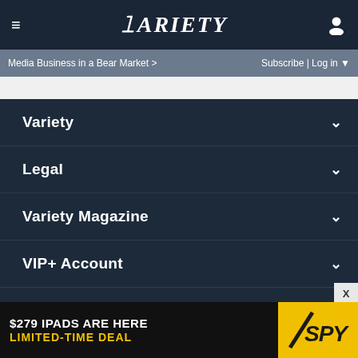≡  VARIETY  [user icon]
Media Business in a Bear Market >   Subscribe | Log in ▼
Variety  ∨
Legal  ∨
Variety Magazine  ∨
VIP+ Account  ∨
Connect  ∨
[Figure (screenshot): $279 IPADS ARE HERE LIMITED-TIME DEAL / SPY advertisement banner]